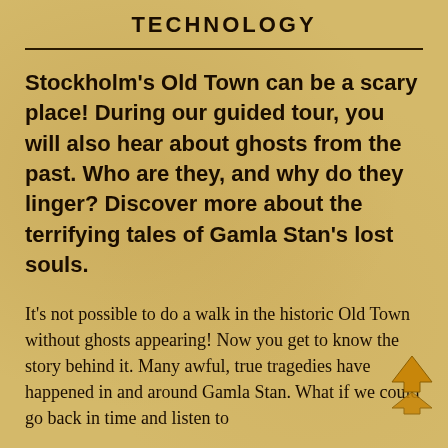TECHNOLOGY
Stockholm's Old Town can be a scary place! During our guided tour, you will also hear about ghosts from the past. Who are they, and why do they linger? Discover more about the terrifying tales of Gamla Stan's lost souls.
It's not possible to do a walk in the historic Old Town without ghosts appearing! Now you get to know the story behind it. Many awful, true tragedies have happened in and around Gamla Stan. What if we could go back in time and listen to